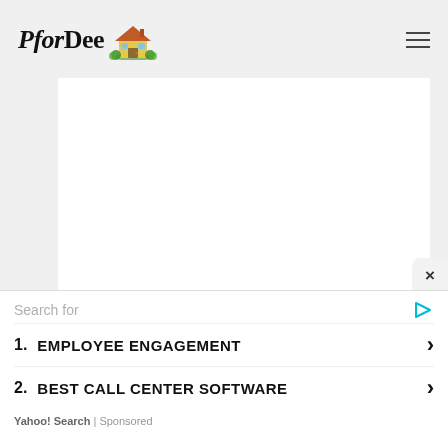PforDee [house logo]
[Figure (illustration): White rectangular content area on light gray background, representing a webpage content placeholder]
[Figure (screenshot): Close button (×) at bottom right of content area]
Search for
1. EMPLOYEE ENGAGEMENT ›
2. BEST CALL CENTER SOFTWARE ›
Yahoo! Search | Sponsored